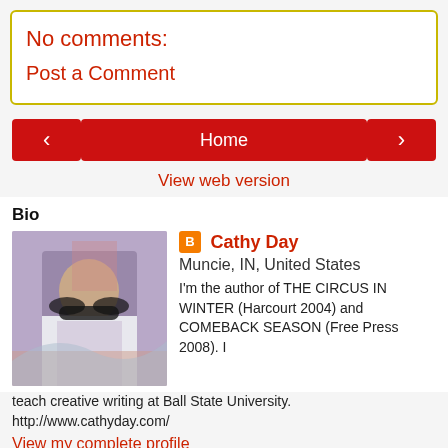No comments:
Post a Comment
[Figure (screenshot): Navigation bar with back arrow button, Home button, and forward arrow button]
View web version
Bio
[Figure (photo): Photo of Cathy Day wearing sunglasses]
Cathy Day
Muncie, IN, United States
I'm the author of THE CIRCUS IN WINTER (Harcourt 2004) and COMEBACK SEASON (Free Press 2008). I teach creative writing at Ball State University.
http://www.cathyday.com/
View my complete profile
Powered by Blogger.